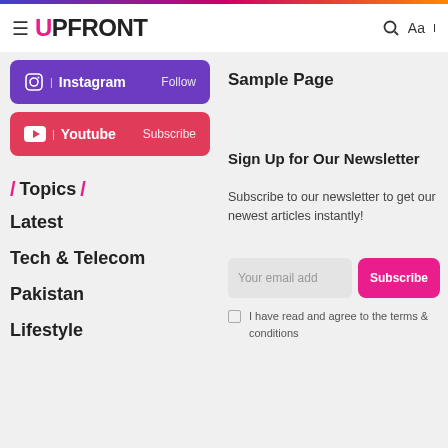UPFRONT
[Figure (illustration): Instagram follow button (purple)]
[Figure (illustration): Youtube subscribe button (red)]
Sample Page
/ Topics /
Latest
Tech & Telecom
Pakistan
Lifestyle
Sign Up for Our Newsletter
Subscribe to our newsletter to get our newest articles instantly!
Your email address | Subscribe
I have read and agree to the terms & conditions